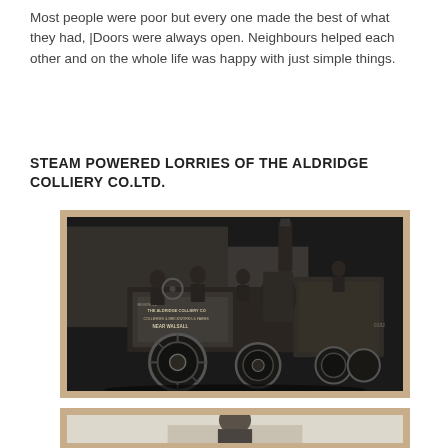Most people were poor but every one made the best of what they had, |Doors were always open. Neighbours helped each other and on the whole life was happy with just simple things.
STEAM POWERED LORRIES OF THE ALDRIDGE COLLIERY CO.LTD.
[Figure (photo): Black and white historical photograph of a steam powered lorry from the Aldridge Colliery Co.Ltd. Several men are seated and standing on the vehicle. Text on the lorry reads 'THE ALDRIDGE COLLIERY CO, COLLIERIES & BRICKWORKS & FARMS, NEAR WALSALL'. A trailer is attached at the back.]
[Figure (photo): Partial view of a second historical photograph, showing the top of what appears to be another steam vehicle or machinery, partially visible at the bottom of the page.]